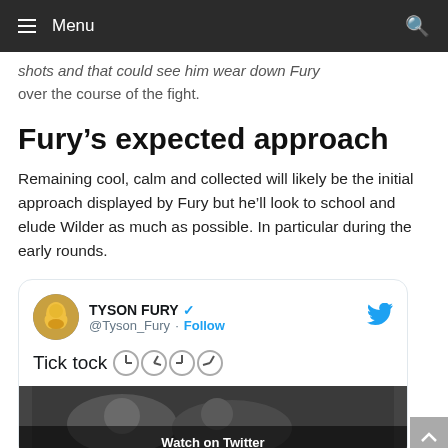Menu
shots and that could see him wear down Fury over the course of the fight.
Fury’s expected approach
Remaining cool, calm and collected will likely be the initial approach displayed by Fury but he’ll look to school and elude Wilder as much as possible. In particular during the early rounds.
[Figure (screenshot): Embedded tweet from @Tyson_Fury with text 'Tick tock' and clock emoji icons, showing a video thumbnail with 'Watch on Twitter' overlay]